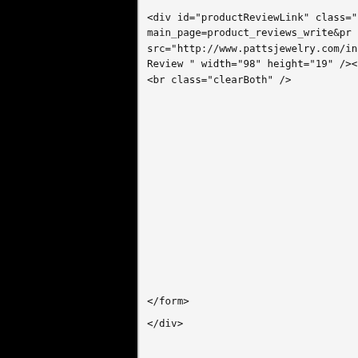<div id="productReviewLink" class="buttonR main_page=product_reviews_write&amp;pr src="http://www.pattsjewelry.com/includes/te Review " width="98" height="19" /></a></div> <br class="clearBoth" />
</form>
</div>